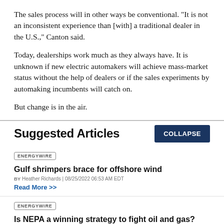The sales process will in other ways be conventional. "It is not an inconsistent experience than [with] a traditional dealer in the U.S.," Canton said.
Today, dealerships work much as they always have. It is unknown if new electric automakers will achieve mass-market status without the help of dealers or if the sales experiments by automaking incumbents will catch on.
But change is in the air.
Suggested Articles
COLLAPSE
ENERGYWIRE
Gulf shrimpers brace for offshore wind
BY Heather Richards | 08/25/2022 06:53 AM EDT
Read More >>
ENERGYWIRE
Is NEPA a winning strategy to fight oil and gas?